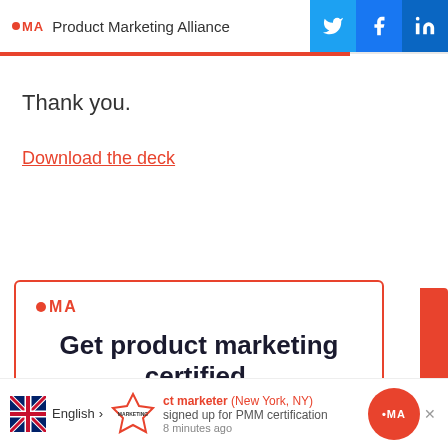Product Marketing Alliance
Thank you.
Download the deck
[Figure (illustration): Promotional card with PMA logo and text 'Get product marketing certified.' with red border and red side tab]
ct marketer (New York, NY) signed up for PMM certification 8 minutes ago